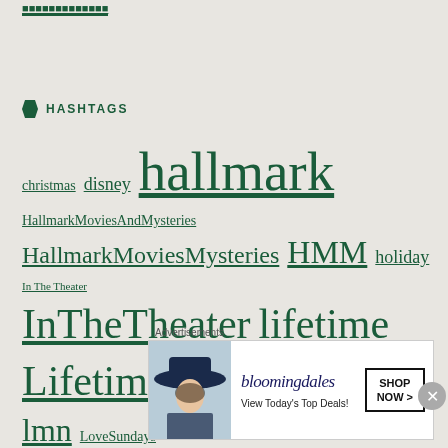HASHTAGS
christmas disney hallmark HallmarkMoviesAndMysteries HallmarkMoviesMysteries HMM holiday In The Theater InTheTheater lifetime LifetimeMovieNetwork lmn LoveSundays MadeForTV marvel movie Must Buy MustBuy review tbt ThrowbackThursday tvreview UPtv
[Figure (infographic): Bloomingdales advertisement banner: logo text 'bloomingdales', tagline 'View Today's Top Deals!', SHOP NOW button, woman with large hat image]
Advertisements